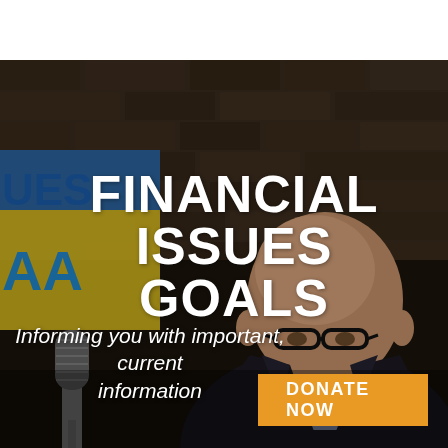[Figure (photo): A bald man with black-rimmed glasses wearing a dark blazer and light blue shirt, photographed in a studio setting with a stone/brick wall background, a yellow broadcast sign partially visible on the left, and a microphone in the foreground. The overall tone is dark/moody with warm lighting on the subject.]
FINANCIAL ISSUES GOALS
Informing you with important, current information
DONATE NOW